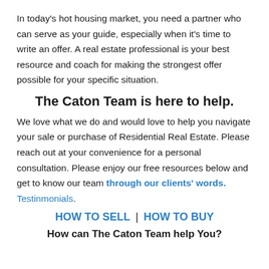In today's hot housing market, you need a partner who can serve as your guide, especially when it's time to write an offer. A real estate professional is your best resource and coach for making the strongest offer possible for your specific situation.
The Caton Team is here to help.
We love what we do and would love to help you navigate your sale or purchase of Residential Real Estate. Please reach out at your convenience for a personal consultation. Please enjoy our free resources below and get to know our team through our clients' words. Testinmonials.
HOW TO SELL | HOW TO BUY
How can The Caton Team help You?